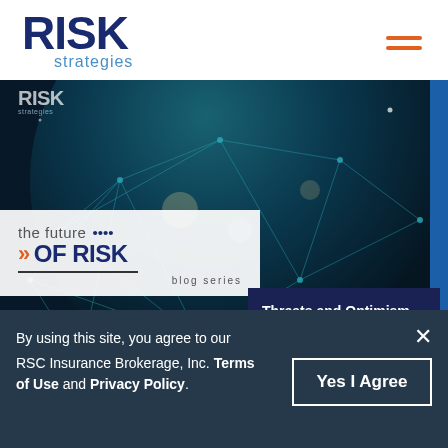[Figure (logo): Risk Strategies company logo with bold dark blue RISK text and blue 'strategies' subtitle, with orange hamburger menu icon in top right]
[Figure (photo): Blog post banner for 'The Future of Risk' blog series showing a globe with network connections, overlaid with blog series title panel and a dark navy box reading 'Threats and Optimism Grow in the Volatile Cyber Market']
By using this site, you agree to our RSC Insurance Brokerage, Inc. Terms of Use and Privacy Policy.
Yes I Agree
Cyber insurance has undergone continuous change